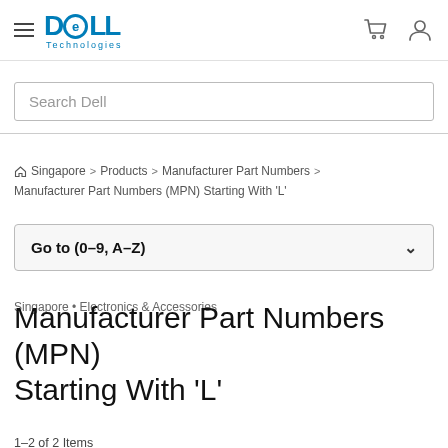[Figure (logo): Dell Technologies logo with hamburger menu, cart icon, and user icon in header navigation bar]
Search Dell
Singapore > Products > Manufacturer Part Numbers > Manufacturer Part Numbers (MPN) Starting With 'L'
Go to (0–9, A–Z)
Singapore • Electronics & Accessories
Manufacturer Part Numbers (MPN) Starting With 'L'
1–2 of 2 Items